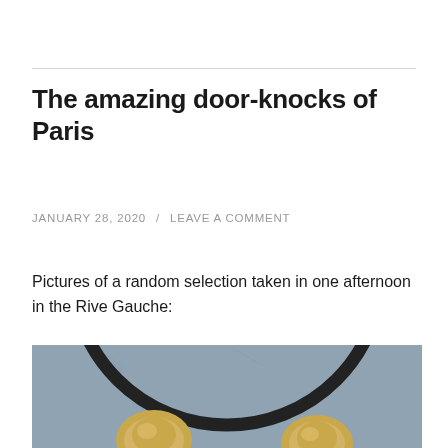The amazing door-knocks of Paris
JANUARY 28, 2020  /  LEAVE A COMMENT
Pictures of a random selection taken in one afternoon in the Rive Gauche:
[Figure (photo): Close-up photograph of a circular door-knock mounted on a blue-grey door, viewed from below. The circular metal ring/knocker is dark/black, and two ornate golden/brass decorative knobs are visible at the bottom of the frame against the blue-grey door surface.]